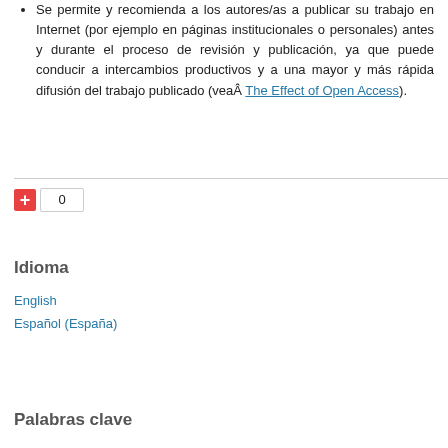Se permite y recomienda a los autores/as a publicar su trabajo en Internet (por ejemplo en páginas institucionales o personales) antes y durante el proceso de revisión y publicación, ya que puede conducir a intercambios productivos y a una mayor y más rápida difusión del trabajo publicado (veaÂ The Effect of Open Access).
[Figure (other): Red plus button with count badge showing 0]
Idioma
English
Español (España)
Palabras clave